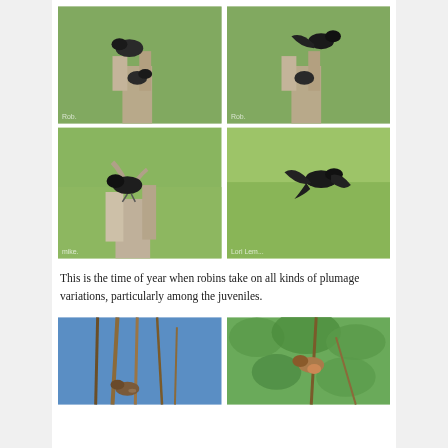[Figure (photo): Two photos side by side showing birds (robins) perched on a weathered tree stump with green foliage background. Top row.]
[Figure (photo): Two photos side by side showing birds (robins) on a weathered tree stump; left photo shows bird perched, right photo shows bird in flight. Middle row.]
This is the time of year when robins take on all kinds of plumage variations, particularly among the juveniles.
[Figure (photo): Two photos side by side at the bottom: left shows a bird among reeds/branches against blue sky, right shows a bird perched among leafy branches.]